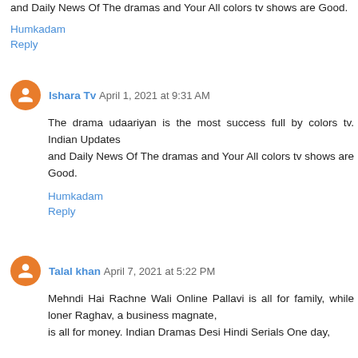and Daily News Of The dramas and Your All colors tv shows are Good.
Humkadam
Reply
Ishara Tv April 1, 2021 at 9:31 AM
The drama udaariyan is the most success full by colors tv. Indian Updates
and Daily News Of The dramas and Your All colors tv shows are Good.
Humkadam
Reply
Talal khan April 7, 2021 at 5:22 PM
Mehndi Hai Rachne Wali Online Pallavi is all for family, while loner Raghav, a business magnate,
is all for money. Indian Dramas Desi Hindi Serials One day,